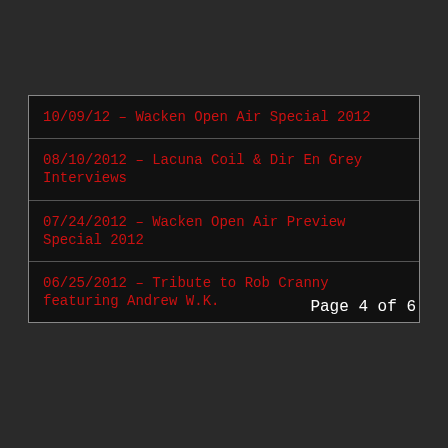10/09/12 – Wacken Open Air Special 2012
08/10/2012 – Lacuna Coil & Dir En Grey Interviews
07/24/2012 – Wacken Open Air Preview Special 2012
06/25/2012 – Tribute to Rob Cranny featuring Andrew W.K.
Page 4 of 6
Start  Prev  1  2  3  4  5  6  Next  End